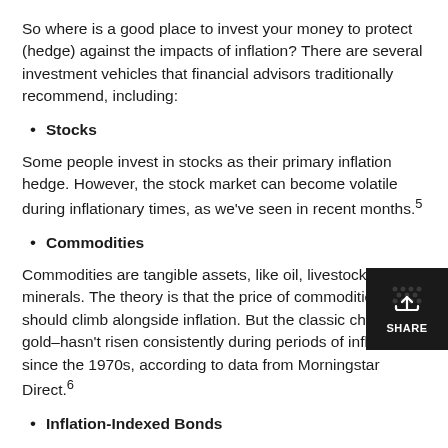So where is a good place to invest your money to protect (hedge) against the impacts of inflation? There are several investment vehicles that financial advisors traditionally recommend, including:
Stocks
Some people invest in stocks as their primary inflation hedge. However, the stock market can become volatile during inflationary times, as we've seen in recent months.5
Commodities
Commodities are tangible assets, like oil, livestock, minerals. The theory is that the price of commodities should climb alongside inflation. But the classic choice–gold–hasn't risen consistently during periods of inflation since the 1970s, according to data from Morningstar Direct.6
Inflation-Indexed Bonds